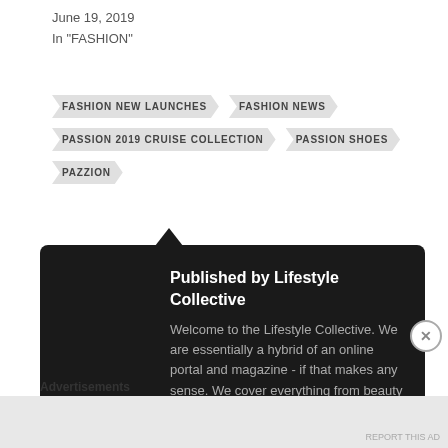June 19, 2019
In "FASHION"
FASHION NEW LAUNCHES
FASHION NEWS
PASSION 2019 CRUISE COLLECTION
PASSION SHOES
PAZZION
Published by Lifestyle Collective
Welcome to the Lifestyle Collective. We are essentially a hybrid of an online portal and magazine - if that makes any sense. We cover everything from beauty and fashion
Advertisements